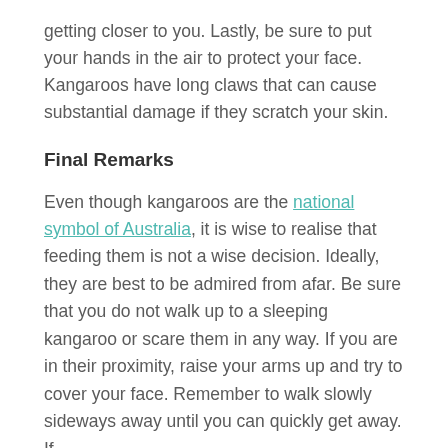getting closer to you. Lastly, be sure to put your hands in the air to protect your face. Kangaroos have long claws that can cause substantial damage if they scratch your skin.
Final Remarks
Even though kangaroos are the national symbol of Australia, it is wise to realise that feeding them is not a wise decision. Ideally, they are best to be admired from afar. Be sure that you do not walk up to a sleeping kangaroo or scare them in any way. If you are in their proximity, raise your arms up and try to cover your face. Remember to walk slowly sideways away until you can quickly get away. If